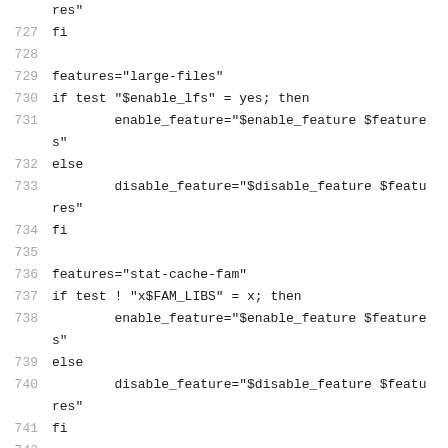code block showing shell script lines 727-744
727   fi
728   (blank)
729   features="large-files"
730   if test "$enable_lfs" = yes; then
731           enable_feature="$enable_feature $features"
732   else
733           disable_feature="$disable_feature $features"
734   fi
735   (blank)
736   features="stat-cache-fam"
737   if test ! "x$FAM_LIBS" = x; then
738           enable_feature="$enable_feature $features"
739   else
740           disable_feature="$disable_feature $features"
741   fi
742   (blank)
743   features="webdav-properties"
744   if test "x$XML_LIBS" \!= x -a "x$SQLITE_LIBS" \!